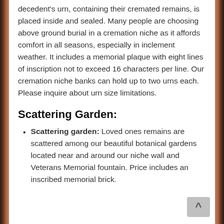decedent's urn, containing their cremated remains, is placed inside and sealed. Many people are choosing above ground burial in a cremation niche as it affords comfort in all seasons, especially in inclement weather. It includes a memorial plaque with eight lines of inscription not to exceed 16 characters per line. Our cremation niche banks can hold up to two urns each. Please inquire about urn size limitations.
Scattering Garden:
Scattering garden: Loved ones remains are scattered among our beautiful botanical gardens located near and around our niche wall and Veterans Memorial fountain. Price includes an inscribed memorial brick.